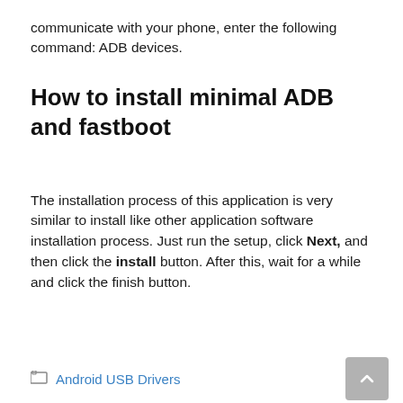communicate with your phone, enter the following command: ADB devices.
How to install minimal ADB and fastboot
The installation process of this application is very similar to install like other application software installation process. Just run the setup, click Next, and then click the install button. After this, wait for a while and click the finish button.
Android USB Drivers